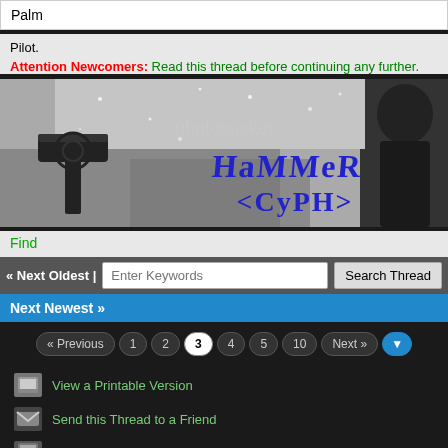Palm
Pilot.
Attention Newcomers: Read this thread before continuing any further.
[Figure (illustration): Banner image showing a Thor's hammer symbol and text 'HAMMER <CYPH>' in blue lettering, with snowy winter scene and a figure in dark clothing on the right. Photobucket watermark visible.]
Find
« Next Oldest | [Search box: Enter Keywords] [Search Thread button]
Next Newest »
« Previous  1  2  3  4  5   10  Next »  [dropdown]
View a Printable Version
Send this Thread to a Friend
Subscribe to this thread